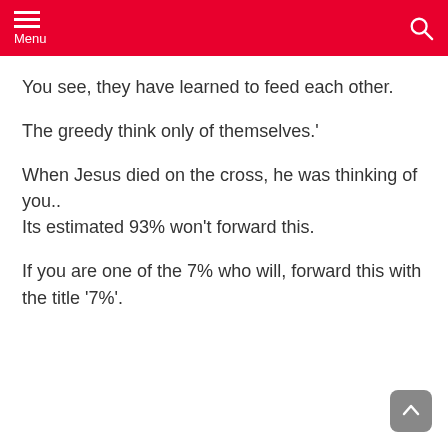Menu
You see, they have learned to feed each other.
The greedy think only of themselves.'
When Jesus died on the cross, he was thinking of you..
Its estimated 93% won't forward this.
If you are one of the 7% who will, forward this with the title '7%'.